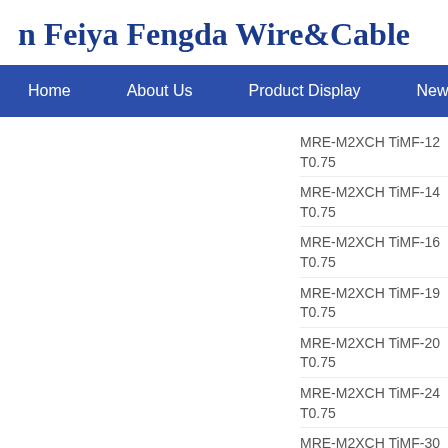n Feiya Fengda Wire&Cable
| Home | About Us | Product Display | New |
| --- | --- | --- | --- |
MRE-M2XCH TiMF-12 T0.75  12×3×
MRE-M2XCH TiMF-14 T0.75  14×3×
MRE-M2XCH TiMF-16 T0.75  16×3×
MRE-M2XCH TiMF-19 T0.75  19×3×
MRE-M2XCH TiMF-20 T0.75  20×3×
MRE-M2XCH TiMF-24 T0.75  24×3×
MRE-M2XCH TiMF-30 T0.75  30×3×